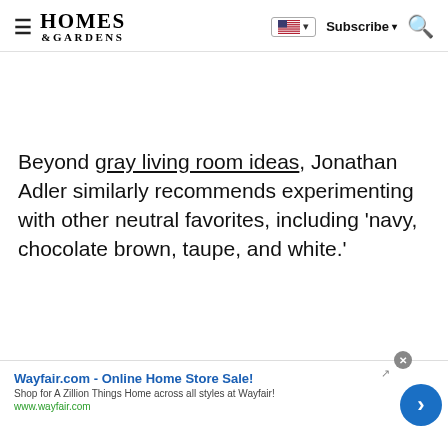≡  HOMES & GARDENS  🇺🇸 ▾  Subscribe ▾  🔍
Beyond gray living room ideas, Jonathan Adler similarly recommends experimenting with other neutral favorites, including 'navy, chocolate brown, taupe, and white.'
[Figure (other): Wayfair advertisement banner: 'Wayfair.com - Online Home Store Sale!' with subtitle 'Shop for A Zillion Things Home across all styles at Wayfair!' and link www.wayfair.com, blue circle arrow button on right, close button top right.]